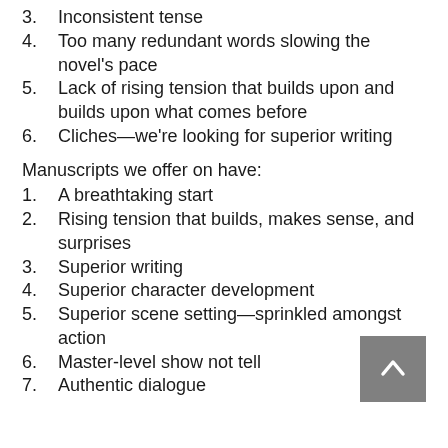3.    Inconsistent tense
4.    Too many redundant words slowing the novel’s pace
5.    Lack of rising tension that builds upon and builds upon what comes before
6.    Cliches—we’re looking for superior writing
Manuscripts we offer on have:
1.    A breathtaking start
2.    Rising tension that builds, makes sense, and surprises
3.    Superior writing
4.    Superior character development
5.    Superior scene setting—sprinkled amongst action
6.    Master-level show not tell
7.    Authentic dialogue